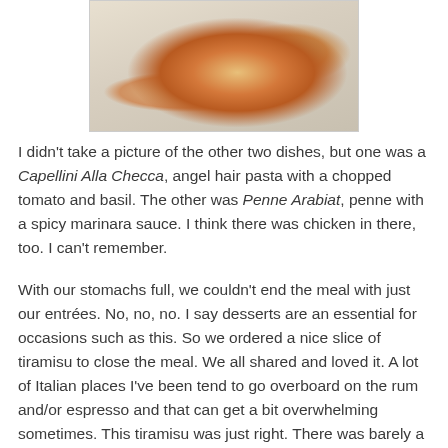[Figure (photo): Food photo showing a plate with what appears to be a baked or sauced dish, partially visible at the top of the page.]
I didn't take a picture of the other two dishes, but one was a Capellini Alla Checca, angel hair pasta with a chopped tomato and basil. The other was Penne Arabiat, penne with a spicy marinara sauce. I think there was chicken in there, too. I can't remember.
With our stomachs full, we couldn't end the meal with just our entrées. No, no, no. I say desserts are an essential for occasions such as this. So we ordered a nice slice of tiramisu to close the meal. We all shared and loved it. A lot of Italian places I've been tend to go overboard on the rum and/or espresso and that can get a bit overwhelming sometimes. This tiramisu was just right. There was barely a hint of it. Did you know that tiramisu originally never had alcohol in it? The mascarpone cheese filling was so smooth, it was soothing to the palate. Slight touch of espresso,